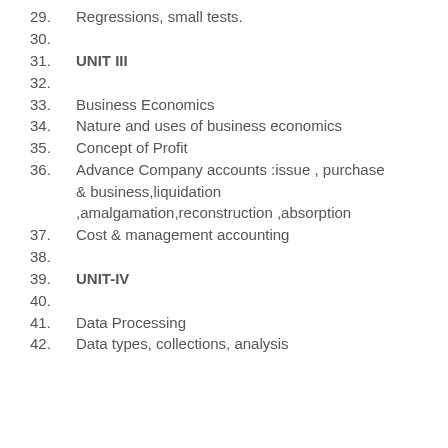29. Regressions, small tests.
30.
31. UNIT III
32.
33. Business Economics
34. Nature and uses of business economics
35. Concept of Profit
36. Advance Company accounts :issue , purchase & business,liquidation ,amalgamation,reconstruction ,absorption
37. Cost & management accounting
38.
39. UNIT-IV
40.
41. Data Processing
42. Data types, collections, analysis